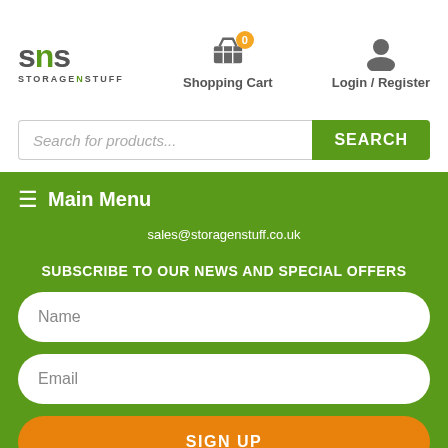[Figure (logo): SNS StorageNStuff logo with green N]
[Figure (illustration): Shopping cart icon with orange badge showing 0]
Shopping Cart
[Figure (illustration): Person/user icon]
Login / Register
Search for products...
SEARCH
≡ Main Menu
sales@storagenstuff.co.uk
SUBSCRIBE TO OUR NEWS AND SPECIAL OFFERS
Name
Email
SIGN UP